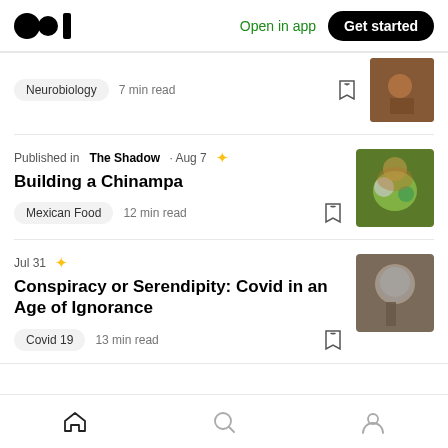[Figure (screenshot): Medium app top navigation bar with logo, Open in app link, and Get started button]
Neurobiology · 7 min read
Published in The Shadow · Aug 7 · Building a Chinampa · Mexican Food · 12 min read
Jul 31 · Conspiracy or Serendipity: Covid in an Age of Ignorance · Covid 19 · 13 min read
[Figure (screenshot): Bottom navigation bar with home, search, and profile icons]